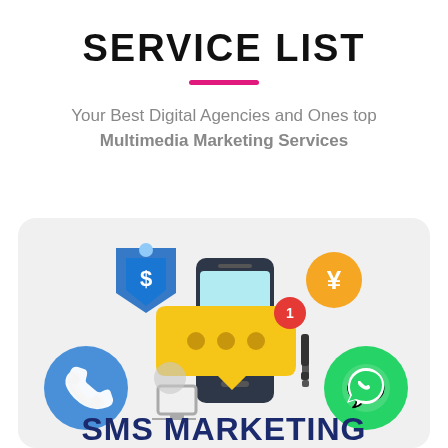SERVICE LIST
Your Best Digital Agencies and Ones top Multimedia Marketing Services
[Figure (illustration): SMS marketing illustration showing a smartphone with a yellow speech bubble message notification (badge showing '1'), a blue phone call circle icon on the left, a green WhatsApp circle icon on the right, a teal/dark phone screen, a gold yen currency circle, a blue shopping cart/discount funnel icon, and small decorative elements, all on a light gray rounded card. Below the illustration the text 'SMS MARKETING' appears in large bold dark blue letters.]